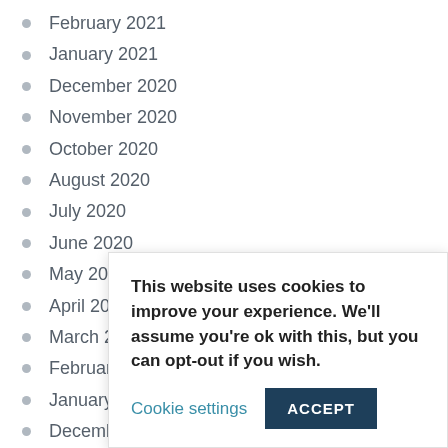February 2021
January 2021
December 2020
November 2020
October 2020
August 2020
July 2020
June 2020
May 2020
April 2020
March 2020
February 2020
January 2020
December 2019
November 2019
This website uses cookies to improve your experience. We'll assume you're ok with this, but you can opt-out if you wish. Cookie settings ACCEPT